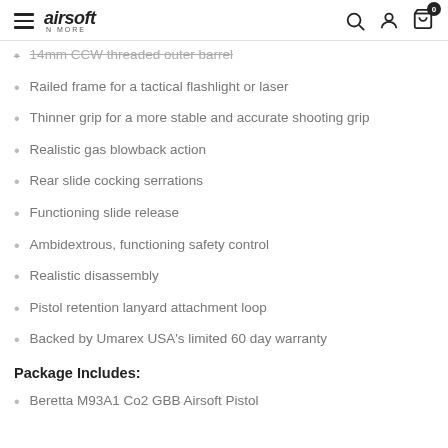airsoft N MORE
14mm CCW threaded outer barrel
Railed frame for a tactical flashlight or laser
Thinner grip for a more stable and accurate shooting grip
Realistic gas blowback action
Rear slide cocking serrations
Functioning slide release
Ambidextrous, functioning safety control
Realistic disassembly
Pistol retention lanyard attachment loop
Backed by Umarex USA's limited 60 day warranty
Package Includes:
Beretta M93A1 Co2 GBB Airsoft Pistol